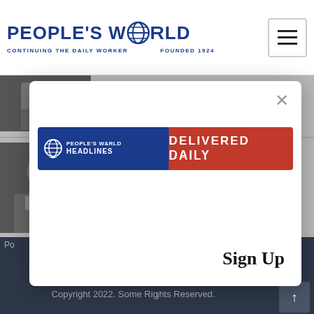PEOPLE'S WORLD — CONTINUING THE DAILY WORKER  FOUNDED 1924
[Figure (photo): Partially visible photo of person at top article]
Ukraine: Arrest warrant issued for fugitive President Yanukovych
[Figure (infographic): People's World Headlines Delivered Daily newsletter signup banner]
Sign Up
DOWNLOAD PRINT EDITION
Copyright 2022. Some Rights Reserved.